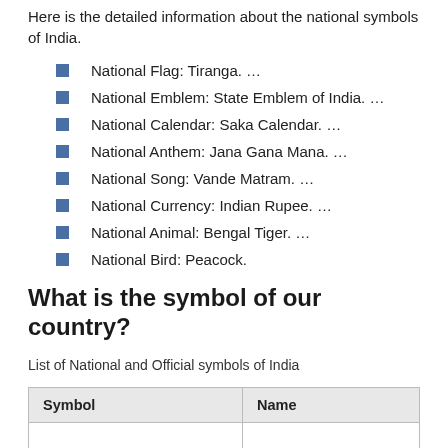Here is the detailed information about the national symbols of India.
National Flag: Tiranga. …
National Emblem: State Emblem of India. …
National Calendar: Saka Calendar. …
National Anthem: Jana Gana Mana. …
National Song: Vande Matram. …
National Currency: Indian Rupee. …
National Animal: Bengal Tiger. …
National Bird: Peacock.
What is the symbol of our country?
List of National and Official symbols of India
| Symbol | Name |
| --- | --- |
|  |  |